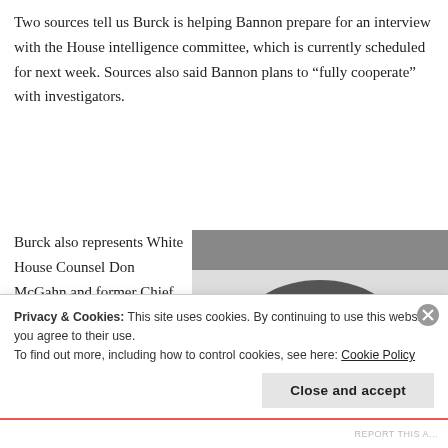Two sources tell us Burck is helping Bannon prepare for an interview with the House intelligence committee, which is currently scheduled for next week. Sources also said Bannon plans to “fully cooperate” with investigators.
Burck also represents White House Counsel Don McGahn and former Chief of Staff Reince Priebus for
[Figure (illustration): Black and white high-contrast stylized illustration of a man's face, resembling a graphic art or propaganda poster style]
Privacy & Cookies: This site uses cookies. By continuing to use this website, you agree to their use.
To find out more, including how to control cookies, see here: Cookie Policy
Close and accept